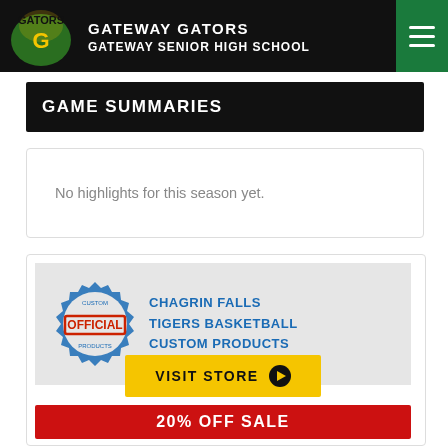GATEWAY GATORS
GATEWAY SENIOR HIGH SCHOOL
GAME SUMMARIES
No highlights for this season yet.
[Figure (infographic): Official badge advertisement for Chagrin Falls Tigers Basketball Custom Products with Visit Store button and 20% OFF SALE banner]